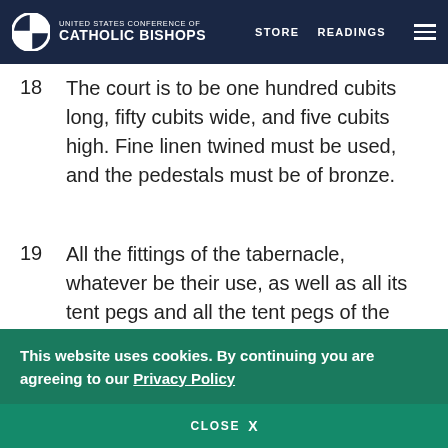UNITED STATES CONFERENCE OF CATHOLIC BISHOPS | STORE | READINGS
18   The court is to be one hundred cubits long, fifty cubits wide, and five cubits high. Fine linen twined must be used, and the pedestals must be of bronze.
19   All the fittings of the tabernacle, whatever be their use, as well as all its tent pegs and all the tent pegs of the court, must be of bronze.
Oil for the Lamps
This website uses cookies. By continuing you are agreeing to our Privacy Policy
CLOSE  X